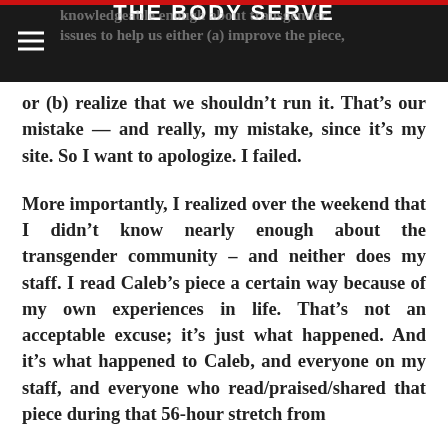THE BODY SERVE
or (b) realize that we shouldn’t run it. That’s our mistake — and really, my mistake, since it’s my site. So I want to apologize. I failed.
More importantly, I realized over the weekend that I didn’t know nearly enough about the transgender community – and neither does my staff. I read Caleb’s piece a certain way because of my own experiences in life. That’s not an acceptable excuse; it’s just what happened. And it’s what happened to Caleb, and everyone on my staff, and everyone who read/praised/shared that piece during that 56-hour stretch from